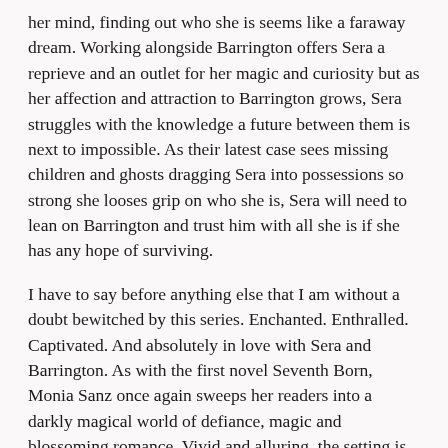her mind, finding out who she is seems like a faraway dream. Working alongside Barrington offers Sera a reprieve and an outlet for her magic and curiosity but as her affection and attraction to Barrington grows, Sera struggles with the knowledge a future between them is next to impossible. As their latest case sees missing children and ghosts dragging Sera into possessions so strong she looses grip on who she is, Sera will need to lean on Barrington and trust him with all she is if she has any hope of surviving.
I have to say before anything else that I am without a doubt bewitched by this series. Enchanted. Enthralled. Captivated. And absolutely in love with Sera and Barrington. As with the first novel Seventh Born, Monia Sanz once again sweeps her readers into a darkly magical world of defiance, magic and blossoming romance. Vivid and alluring, the setting is entrancing and protagonist Sera's voice effortless to follow. Sanz details a rich and passionate gothic-esq atmosphere and keeps her readers bewitched with the mystery and intrigue she adds to the storyline as Sera and Barrington investigate a case of missing seventhborn children.
Mirror Bound once more unfolds through the perspective of